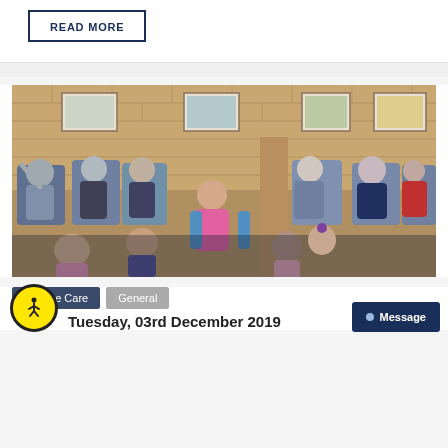READ MORE
[Figure (photo): Group photo of elderly care home residents seated in chairs along a brick wall, with children and a staff member in a pink top and blue cardigan interacting with them in what appears to be an intergenerational activity session.]
Respite Care
General
Tuesday, 03rd December 2019